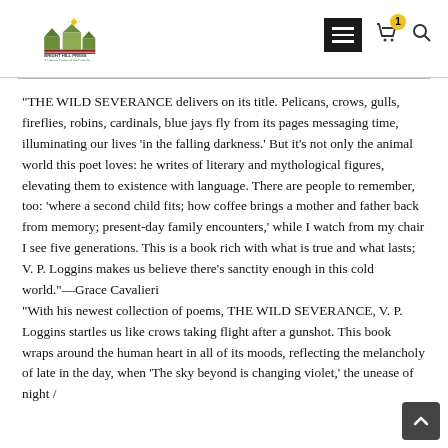Bright Hill Press & Literary Center of the Catskills
“THE WILD SEVERANCE delivers on its title. Pelicans, crows, gulls, fireflies, robins, cardinals, blue jays fly from its pages messaging time, illuminating our lives ‘in the falling darkness.’ But it’s not only the animal world this poet loves: he writes of literary and mythological figures, elevating them to existence with language. There are people to remember, too: ‘where a second child fits; how coffee brings a mother and father back from memory; present-day family encounters,’ while I watch from my chair I see five generations. This is a book rich with what is true and what lasts; V. P. Loggins makes us believe there’s sanctity enough in this cold world.”—Grace Cavalieri
“With his newest collection of poems, THE WILD SEVERANCE, V. P. Loggins startles us like crows taking flight after a gunshot. This book wraps around the human heart in all of its moods, reflecting the melancholy of late in the day, when ‘The sky beyond is changing violet,’ the unease of night /